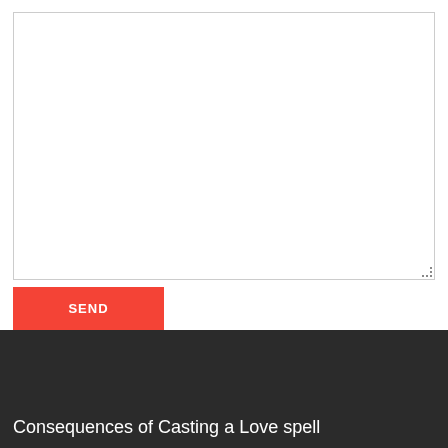[Figure (screenshot): A web form textarea input field with a resize handle in the bottom-right corner, empty white background with thin gray border]
SEND
Consequences of Casting a Love spell